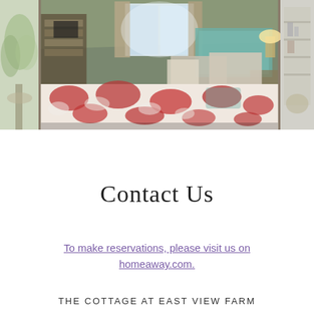[Figure (photo): Three-panel photo strip: left panel shows a partial indoor scene with plants and soft greenish light; center panel shows a bedroom with a floral quilt/bedspread in red and white, pillows, a tufted headboard, lamps, curtained window with natural light, bookshelf and furniture visible; right panel shows a partial interior room scene with shelving.]
Contact Us
To make reservations, please visit us on homeaway.com.
THE COTTAGE AT EAST VIEW FARM